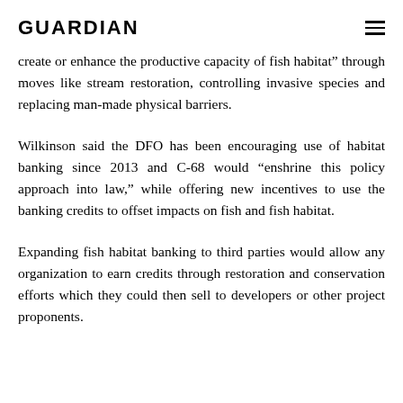GUARDIAN
create or enhance the productive capacity of fish habitat” through moves like stream restoration, controlling invasive species and replacing man-made physical barriers.
Wilkinson said the DFO has been encouraging use of habitat banking since 2013 and C-68 would “enshrine this policy approach into law,” while offering new incentives to use the banking credits to offset impacts on fish and fish habitat.
Expanding fish habitat banking to third parties would allow any organization to earn credits through restoration and conservation efforts which they could then sell to developers or other project proponents.